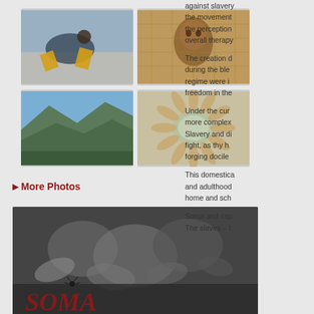[Figure (photo): Grid of four photos: breakdancing on ground, person with mask in chair, mountain landscape, hands arranged in circle around center]
> More Photos
[Figure (photo): Black and white photo of hands clasped together with 'SOMA - uma terapia anarquista' text overlay in dark red]
against slavery the movement the perception overall therapy
The creation d during the ble regime were i freedom in the
Under the cur more complex Slavery and di fight, as thy h forging docile
This domestica and adulthood home and sch
Soma and cap The slaves – t